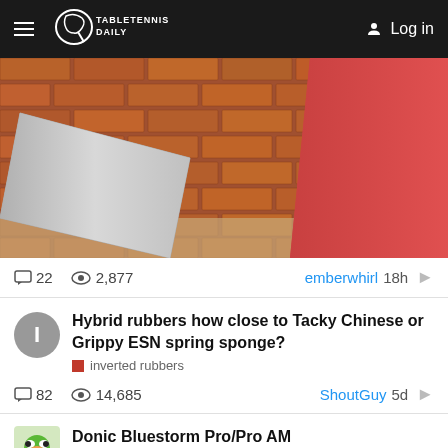TABLETENNISDAILY  Log in
[Figure (photo): Hero image showing two table tennis rubber sheets — a grey/silver one leaning left and a red one on the right — against a brick wall background.]
22  2,877  emberwhirl 18h
Hybrid rubbers how close to Tacky Chinese or Grippy ESN spring sponge?
inverted rubbers
82  14,685  ShoutGuy 5d
Donic Bluestorm Pro/Pro AM
donic